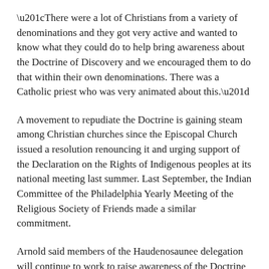“There were a lot of Christians from a variety of denominations and they got very active and wanted to know what they could do to help bring awareness about the Doctrine of Discovery and we encouraged them to do that within their own denominations. There was a Catholic priest who was very animated about this.”
A movement to repudiate the Doctrine is gaining steam among Christian churches since the Episcopal Church issued a resolution renouncing it and urging support of the Declaration on the Rights of Indigenous peoples at its national meeting last summer. Last September, the Indian Committee of the Philadelphia Yearly Meeting of the Religious Society of Friends made a similar commitment.
Arnold said members of the Haudenosaunee delegation will continue to work to raise awareness of the Doctrine in the hope of gaining a critical mass of grassroots support the Vatican will not be able to ignore.
“The Doctrine maps a cultural attitude – our arrogance – toward the indigenous peoples and the earth. The whole colonial project, which is the legacy of America, is based on these principles, which